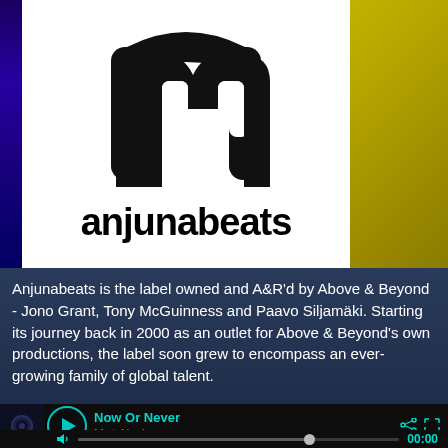[Figure (logo): Anjunabeats logo — stylized 'A' shape made of two rounded triangular arrows forming a loop, with the wordmark 'anjunabeats' in heavy sans-serif below, on white background. Page background is yellow-gold gradient on right, blue-purple strip on left.]
Anjunabeats is the label owned and A&R'd by Above & Beyond - Jono Grant, Tony McGuinness and Paavo Siljamäki. Starting its journey back in 2000 as an outlet for Above & Beyond's own productions, the label soon grew to encompass an ever-growing family of global talent.
Now Or Never
Matt Nash
00:00